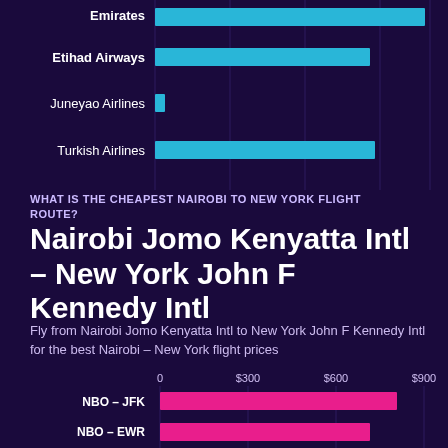[Figure (bar-chart): Airlines (partial, top of page)]
WHAT IS THE CHEAPEST NAIROBI TO NEW YORK FLIGHT ROUTE?
Nairobi Jomo Kenyatta Intl – New York John F Kennedy Intl
Fly from Nairobi Jomo Kenyatta Intl to New York John F Kennedy Intl for the best Nairobi – New York flight prices
[Figure (bar-chart): Cheapest routes by price]